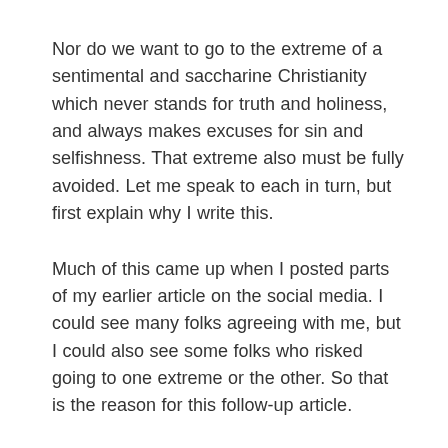Nor do we want to go to the extreme of a sentimental and saccharine Christianity which never stands for truth and holiness, and always makes excuses for sin and selfishness. That extreme also must be fully avoided. Let me speak to each in turn, but first explain why I write this.
Much of this came up when I posted parts of my earlier article on the social media. I could see many folks agreeing with me, but I could also see some folks who risked going to one extreme or the other. So that is the reason for this follow-up article.
As to the self-righteous condemning of others, I have spoken about this before – often in relation to the heresy-hunters. As I have said so often, orthodoxy certainly matters, and we should reject